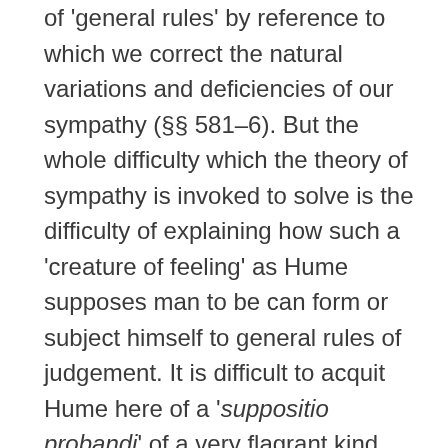of 'general rules' by reference to which we correct the natural variations and deficiencies of our sympathy (§§ 581–6). But the whole difficulty which the theory of sympathy is invoked to solve is the difficulty of explaining how such a 'creature of feeling' as Hume supposes man to be can form or subject himself to general rules of judgement. It is difficult to acquit Hume here of a 'suppositio probandi' of a very flagrant kind. Somewhat on the lines of this criticism the idealist sets up a theory of sympathy which reverses the relation between sympathy, other than merely animal sympathy, and the conception of a common good, and condemns Hume's theory as preposterous. It is only, he urges,